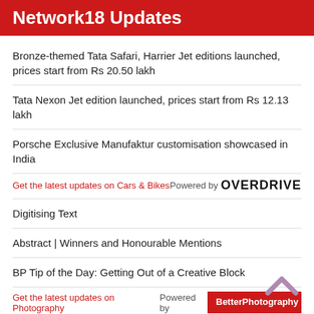Network18 Updates
Bronze-themed Tata Safari, Harrier Jet editions launched, prices start from Rs 20.50 lakh
Tata Nexon Jet edition launched, prices start from Rs 12.13 lakh
Porsche Exclusive Manufaktur customisation showcased in India
Get the latest updates on Cars & Bikes    Powered by OVERDRIVE
Digitising Text
Abstract | Winners and Honourable Mentions
BP Tip of the Day: Getting Out of a Creative Block
Get the latest updates on Photography    Powered by Better Photography